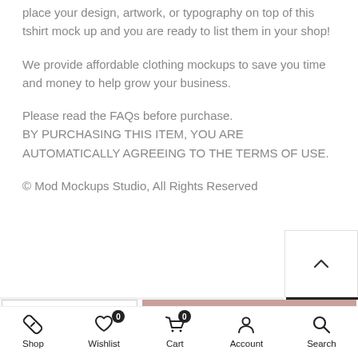place your design, artwork, or typography on top of this tshirt mock up and you are ready to list them in your shop!
We provide affordable clothing mockups to save you time and money to help grow your business.
Please read the FAQs before purchase.
BY PURCHASING THIS ITEM, YOU ARE AUTOMATICALLY AGREEING TO THE TERMS OF USE.
© Mod Mockups Studio, All Rights Reserved
[Figure (screenshot): Quantity selector with minus button, 1, and plus button, next to a pink ADD TO CART button]
[Figure (screenshot): Bottom navigation bar with Shop, Wishlist (badge 0), Cart (badge 0), Account, and Search icons]